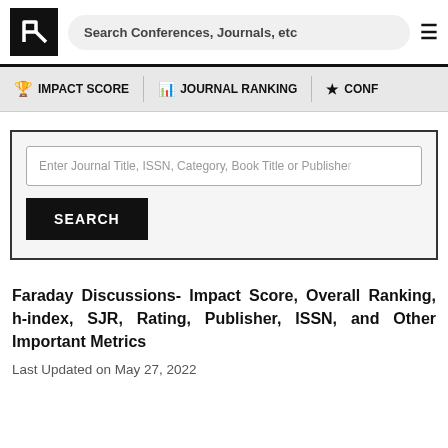[Figure (logo): Black square logo with white stylized R/K letter mark]
Search Conferences, Journals, etc
IMPACT SCORE   JOURNAL RANKING   CONF
Enter Journal Title, ISSN, Category, Book Title or Publisher
SEARCH
Faraday Discussions- Impact Score, Overall Ranking, h-index, SJR, Rating, Publisher, ISSN, and Other Important Metrics
Last Updated on May 27, 2022